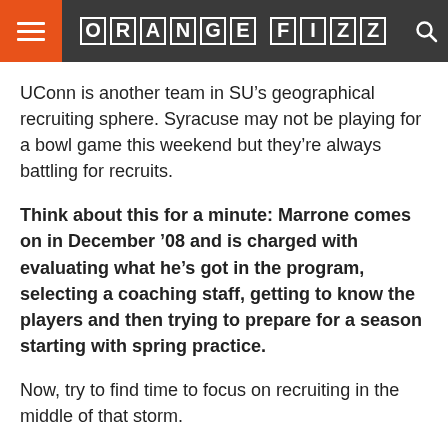ORANGE FIZZ
UConn is another team in SU’s geographical recruiting sphere. Syracuse may not be playing for a bowl game this weekend but they’re always battling for recruits.
Think about this for a minute: Marrone comes on in December ’08 and is charged with evaluating what he’s got in the program, selecting a coaching staff, getting to know the players and then trying to prepare for a season starting with spring practice.
Now, try to find time to focus on recruiting in the middle of that storm.